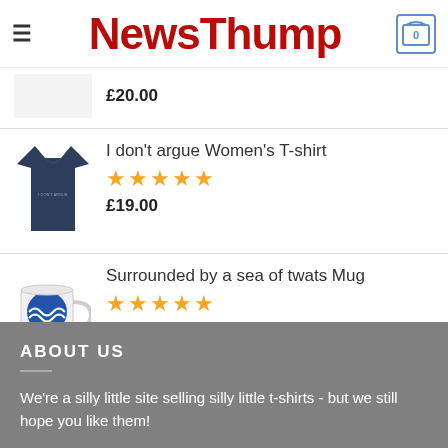NewsThump
£20.00
I don't argue Women's T-shirt — Rated 5 stars — £19.00
Surrounded by a sea of twats Mug — Rated 5 stars — £9.99
ABOUT US
We're a silly little site selling silly little t-shirts - but we still hope you like them!